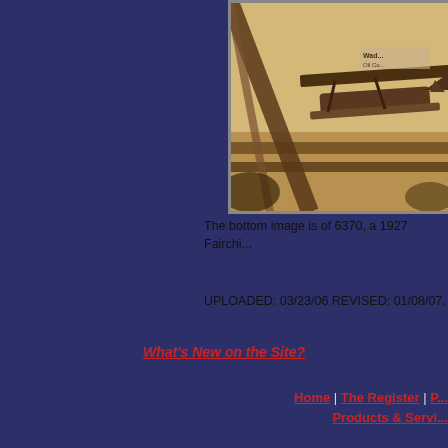[Figure (photo): Sepia-toned vintage photograph of a 1927 Fairchild airplane (registration 6370) viewed from below/beside, with hangar beams visible. A sign reading 'Wad... Oil Co...' is visible in the background.]
The bottom image is of 6370, a 1927 Fairchi...
UPLOADED: 03/23/06 REVISED: 01/08/07,
What's New on the Site?
Home | The Register | P... Products & Servi...